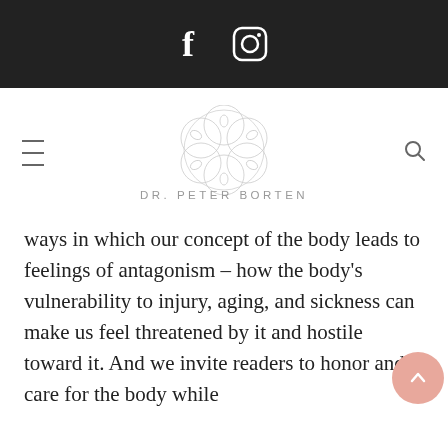Social media icons: Facebook, Instagram
[Figure (logo): DR. PETER BORTEN logo with geometric mandala/flower design above text]
ways in which our concept of the body leads to feelings of antagonism – how the body's vulnerability to injury, aging, and sickness can make us feel threatened by it and hostile toward it. And we invite readers to honor and care for the body while